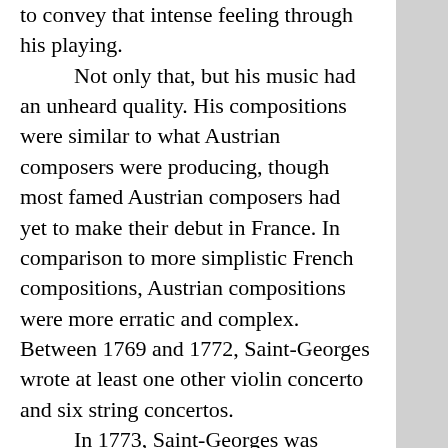to convey that intense feeling through his playing. Not only that, but his music had an unheard quality. His compositions were similar to what Austrian composers were producing, though most famed Austrian composers had yet to make their debut in France. In comparison to more simplistic French compositions, Austrian compositions were more erratic and complex. Between 1769 and 1772, Saint-Georges wrote at least one other violin concerto and six string concertos. In 1773, Saint-Georges was given a better opportunity than he could have ever hoped after Gossec left as conductor of the Concert des Amateurs. This left an open position